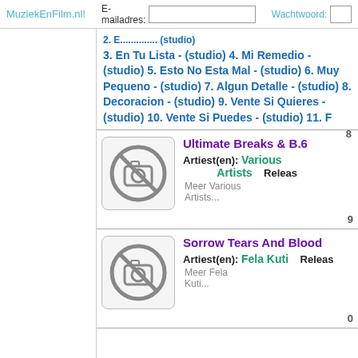MuziekEnFilm.nl! E-mailadres: Wachtwoord:
3. En Tu Lista - (studio) 4. Mi Remedio - (studio) 5. Esto No Esta Mal - (studio) 6. Muy Pequeno - (studio) 7. Algun Detalle - (studio) 8. Decoracion - (studio) 9. Vente Si Quieres - (studio) 10. Vente Si Puedes - (studio) 11. F 8
[Figure (illustration): No image available icon (camera with cross)]
Ultimate Breaks & B.6 Artiest(en): Various Artists Meer Various Artists... Releas 9
[Figure (illustration): No image available icon (camera with cross)]
Sorrow Tears And Blood Artiest(en): Fela Kuti Meer Fela Kuti... Releas 0